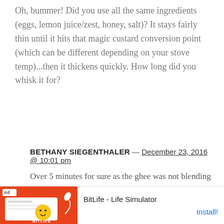Oh, bummer! Did you use all the same ingredients (eggs, lemon juice/zest, honey, salt)? It stays fairly thin until it hits that magic custard conversion point (which can be different depending on your stove temp)...then it thickens quickly. How long did you whisk it for?
BETHANY SIEGENTHALER — December 23, 2016 @ 10:01 pm
Over 5 minutes for sure as the ghee was not blending well. Then I gave up and left it in the fridge overnight thinking maybe more time setting...
[Figure (screenshot): Advertisement banner for BitLife - Life Simulator app with red background, cartoon face, and Install button]